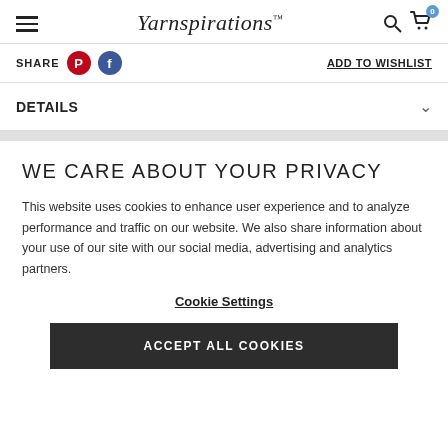Yarnspirations
SHARE  ADD TO WISHLIST
DETAILS
WE CARE ABOUT YOUR PRIVACY
This website uses cookies to enhance user experience and to analyze performance and traffic on our website. We also share information about your use of our site with our social media, advertising and analytics partners.
Cookie Settings
ACCEPT ALL COOKIES